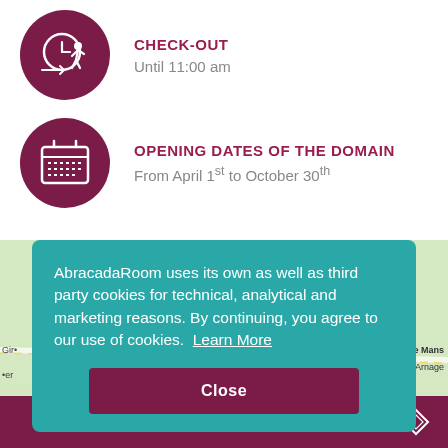CHECK-OUT
Until 11:00 am
OPENING DATES OF THE DOMAIN
From April 1st to October 30th
AbracadaRoom uses its own as well as third party cookies for technical, analytical and marketing reasons. By continuing, you agree to our use of cookies. Learn More
Close